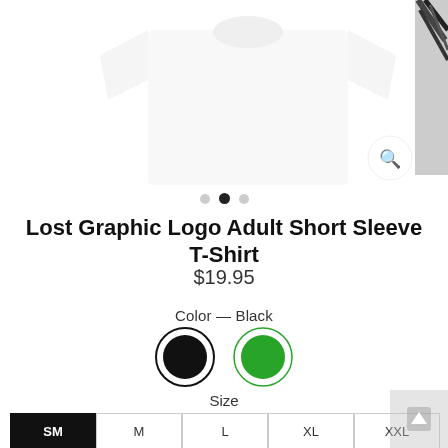[Figure (photo): Cropped product image of a white t-shirt on white background with magnify button, and a partially visible second image on the right edge]
• • •  (pagination dots, middle dot active)
Lost Graphic Logo Adult Short Sleeve T-Shirt
$19.95
Color — Black
[Figure (illustration): Two color swatches: black circle with selection ring, and green circle]
Size
SM  M  L  XL  XXL  (size selector buttons, SM selected/black)